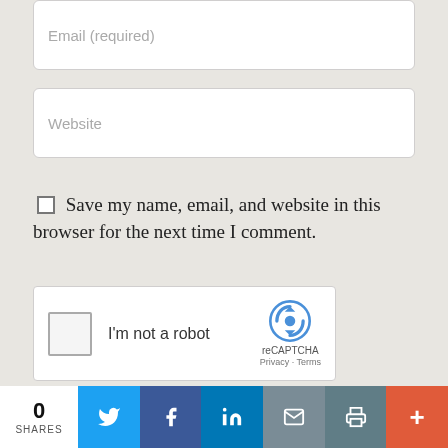[Figure (screenshot): Email input field with placeholder text 'Email (required)']
[Figure (screenshot): Website input field with placeholder text 'Website']
Save my name, email, and website in this browser for the next time I comment.
[Figure (screenshot): reCAPTCHA widget with checkbox, 'I'm not a robot' label, and reCAPTCHA logo with Privacy and Terms links]
[Figure (screenshot): Post Comment button in dark red]
[Figure (infographic): Social share bar with 0 SHARES count, Twitter, Facebook, LinkedIn, Email, Print, and More buttons]